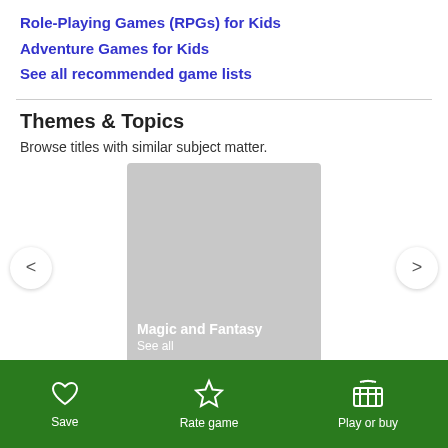Role-Playing Games (RPGs) for Kids
Adventure Games for Kids
See all recommended game lists
Themes & Topics
Browse titles with similar subject matter.
[Figure (illustration): A carousel card showing 'Magic and Fantasy' category with a light gray placeholder image and 'See all' text below the title, with left and right navigation arrows on either side.]
Save   Rate game   Play or buy